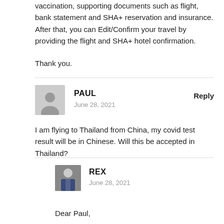vaccination, supporting documents such as flight, bank statement and SHA+ reservation and insurance. After that, you can Edit/Confirm your travel by providing the flight and SHA+ hotel confirmation.
Thank you.
PAUL
June 28, 2021
Reply
I am flying to Thailand from China, my covid test result will be in Chinese. Will this be accepted in Thailand?
REX
June 28, 2021
Dear Paul,